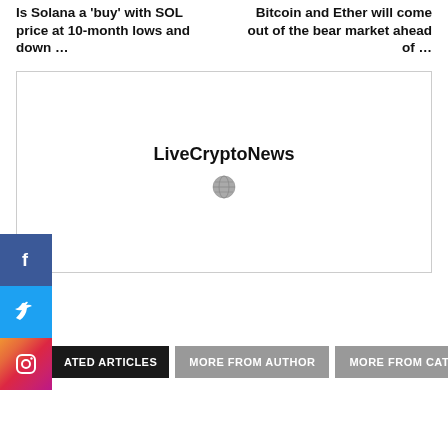Is Solana a ‘buy’ with SOL price at 10-month lows and down …
Bitcoin and Ether will come out of the bear market ahead of …
[Figure (other): Advertisement box with LiveCryptoNews branding and a small globe/world icon]
[Figure (other): Social media sidebar buttons: Facebook (blue), Twitter (light blue), Instagram (gradient)]
ATED ARTICLES
MORE FROM AUTHOR
MORE FROM CATEGORY